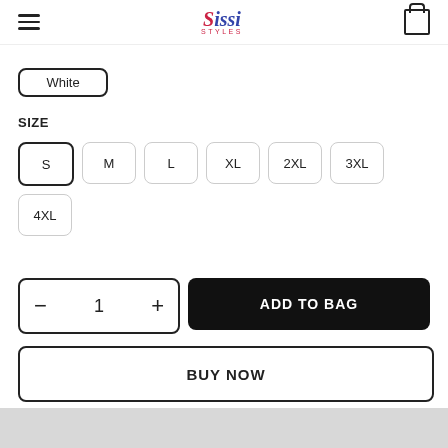Sissi Styles - navigation header with hamburger menu and bag icon
White
SIZE
S
M
L
XL
2XL
3XL
4XL
- 1 + | ADD TO BAG
BUY NOW